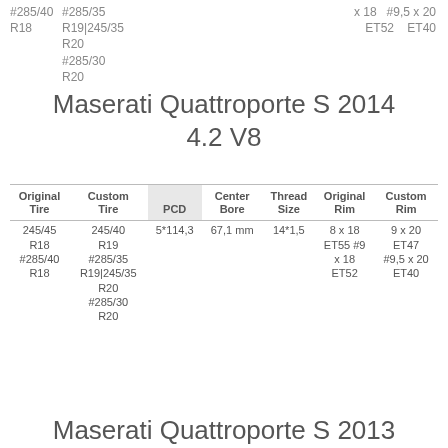#285/40 R18  #285/35 R19|245/35 R20  #285/30 R20
x 18  #9,5 x 20
ET52  ET40
Maserati Quattroporte S 2014 4.2 V8
| Original Tire | Custom Tire | PCD | Center Bore | Thread Size | Original Rim | Custom Rim |
| --- | --- | --- | --- | --- | --- | --- |
| 245/45 R18 #285/40 R18 | 245/40 R19 #285/35 R19|245/35 R20 #285/30 R20 | 5*114,3 | 67,1 mm | 14*1,5 | 8 x 18 ET55 #9 x 18 ET52 | 9 x 20 ET47 #9,5 x 20 ET40 |
Maserati Quattroporte S 2013